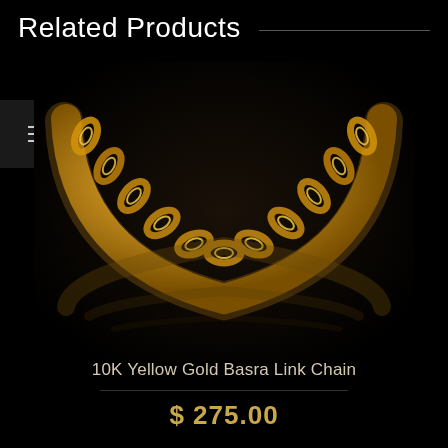Related Products
[Figure (photo): A gold curb/Basra link chain necklace photographed on a dark black background with its reflection visible below, forming a U-shape arc.]
10K Yellow Gold Basra Link Chain
$ 275.00